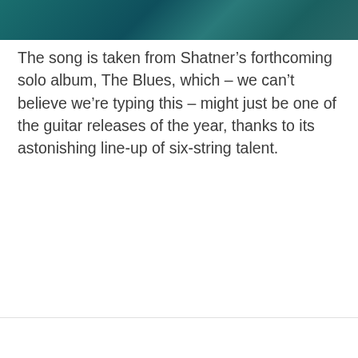[Figure (photo): Teal/dark teal blurred background image banner at top of page]
The song is taken from Shatner's forthcoming solo album, The Blues, which – we can't believe we're typing this – might just be one of the guitar releases of the year, thanks to its astonishing line-up of six-string talent.